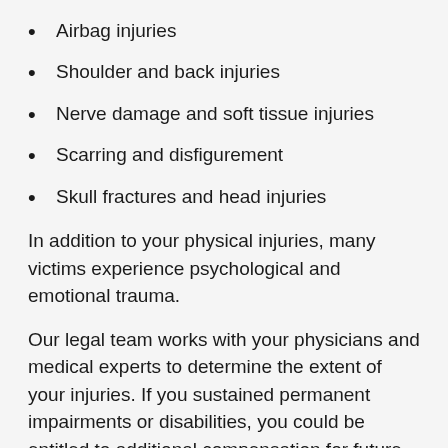Airbag injuries
Shoulder and back injuries
Nerve damage and soft tissue injuries
Scarring and disfigurement
Skull fractures and head injuries
In addition to your physical injuries, many victims experience psychological and emotional trauma.
Our legal team works with your physicians and medical experts to determine the extent of your injuries. If you sustained permanent impairments or disabilities, you could be entitled to additional compensation for future damages.